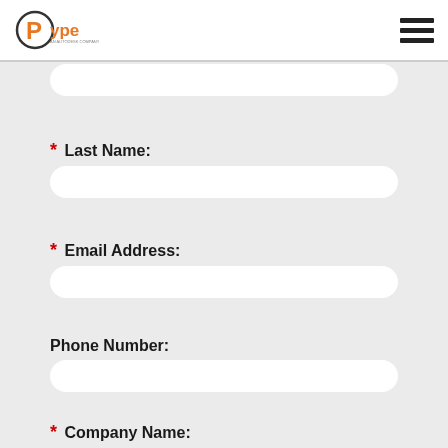[Figure (logo): Pype logo - orange P in a dark circle, text 'pype' in orange and dark, 'AN AUTODESK COMPANY' below]
* Last Name:
* Email Address:
Phone Number:
* Company Name: